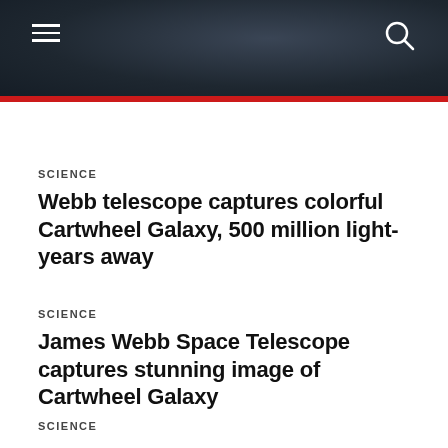Navigation header with hamburger menu and search icon
SCIENCE
Webb telescope captures colorful Cartwheel Galaxy, 500 million light-years away
SCIENCE
James Webb Space Telescope captures stunning image of Cartwheel Galaxy
SCIENCE